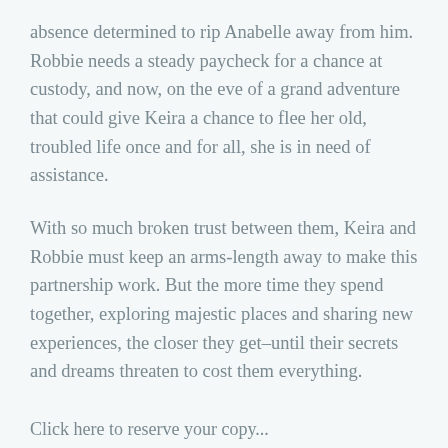absence determined to rip Anabelle away from him. Robbie needs a steady paycheck for a chance at custody, and now, on the eve of a grand adventure that could give Keira a chance to flee her old, troubled life once and for all, she is in need of assistance.
With so much broken trust between them, Keira and Robbie must keep an arms-length away to make this partnership work. But the more time they spend together, exploring majestic places and sharing new experiences, the closer they get–until their secrets and dreams threaten to cost them everything.
Click here to reserve your copy...